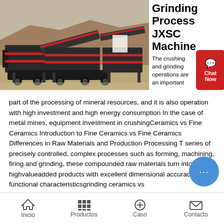[Figure (photo): Industrial mining/crushing equipment with conveyor belts and machinery outdoors on rocky terrain]
Grinding Process JXSC Machine
The crushing and grinding operations are an important part of the processing of mineral resources, and it is also operation with high investment and high energy consumption In the case of metal mines, equipment investment in crushingCeramics vs Fine Ceramics Introduction to Fine Ceramics vs Fine Ceramics Differences in Raw Materials and Production Processing T series of precisely controlled, complex processes such as forming, machining, firing and grinding, these compounded raw materials turn into highvalueadded products with excellent dimensional accuracy and functional characteristicsgrinding ceramics vs
Inicio   Productos   Caso   Contacto